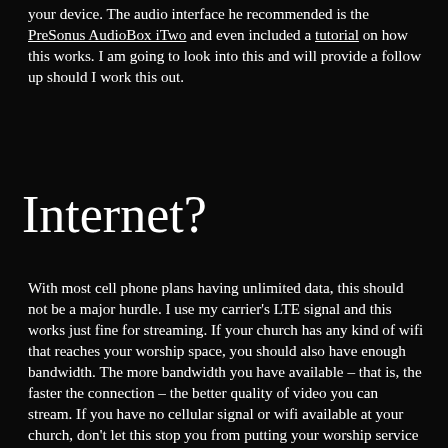your device. The audio interface he recommended is the PreSonus AudioBox iTwo and even included a tutorial on how this works. I am going to look into this and will provide a follow up should I work this out.
Internet?
With most cell phone plans having unlimited data, this should not be a major hurdle. I use my carrier's LTE signal and this works just fine for streaming. If your church has any kind of wifi that reaches your worship space, you should also have enough bandwidth. The more bandwidth you have available – that is, the faster the connection – the better quality of video you can stream. If you have no cellular signal or wifi available at your church, don't let this stop you from putting your worship service